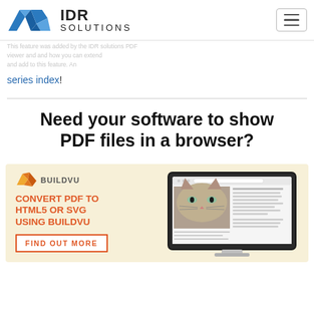IDR Solutions
series index!
Need your software to show PDF files in a browser?
[Figure (infographic): BuildVu advertisement banner with orange bird logo, text 'CONVERT PDF TO HTML5 OR SVG USING BUILDVU', 'FIND OUT MORE' button, and a monitor showing a PDF with a cat image]